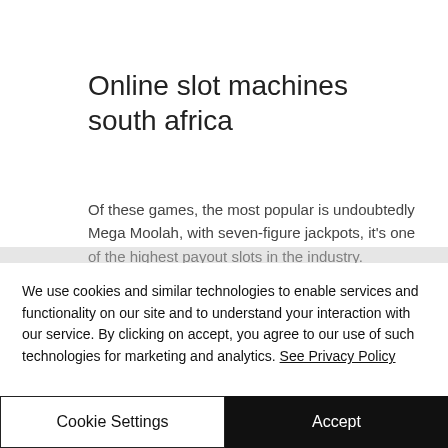Online slot machines south africa
Of these games, the most popular is undoubtedly Mega Moolah, with seven-figure jackpots, it's one of the highest payout slots in the industry. Cashalot historically has paid out closer to the C$1 million mark, but it's popular among players means that it's also a
We use cookies and similar technologies to enable services and functionality on our site and to understand your interaction with our service. By clicking on accept, you agree to our use of such technologies for marketing and analytics. See Privacy Policy
Cookie Settings
Accept